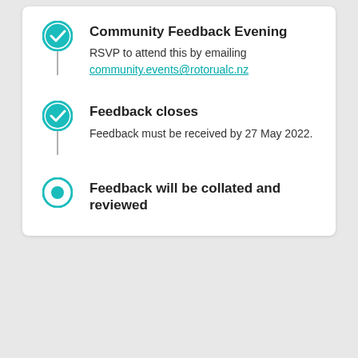Community Feedback Evening — RSVP to attend this by emailing community.events@rotorualc.nz
Feedback closes — Feedback must be received by 27 May 2022.
Feedback will be collated and reviewed